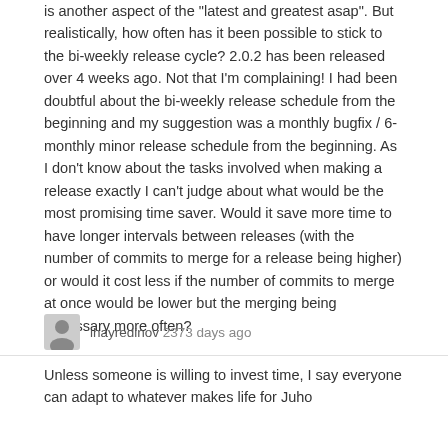is another aspect of the "latest and greatest asap". But realistically, how often has it been possible to stick to the bi-weekly release cycle? 2.0.2 has been released over 4 weeks ago. Not that I'm complaining! I had been doubtful about the bi-weekly release schedule from the beginning and my suggestion was a monthly bugfix / 6-monthly minor release schedule from the beginning. As I don't know about the tasks involved when making a release exactly I can't judge about what would be the most promising time saver. Would it save more time to have longer intervals between releases (with the number of commits to merge for a release being higher) or would it cost less if the number of commits to merge at once would be lower but the merging being necessary more often?
ihayredinov 2373 days ago
Unless someone is willing to invest time, I say everyone can adapt to whatever makes life for Juho